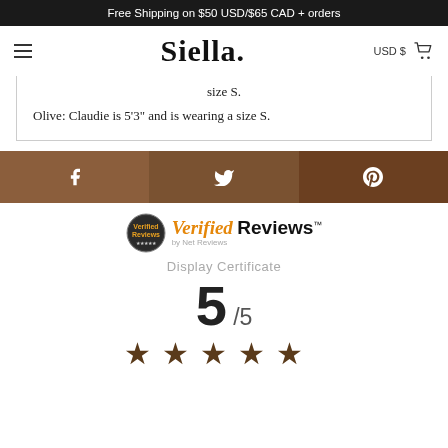Free Shipping on $50 USD/$65 CAD + orders
[Figure (logo): Siella brand logo with navigation bar showing hamburger menu, USD $ currency selector, and cart icon]
size S.
Olive: Claudie is 5'3" and is wearing a size S.
[Figure (infographic): Social sharing bar with Facebook, Twitter, and Pinterest buttons in brown tones]
[Figure (logo): Verified Reviews logo badge with circular emblem]
Display Certificate
5 /5
[Figure (infographic): Five brown star rating icons]